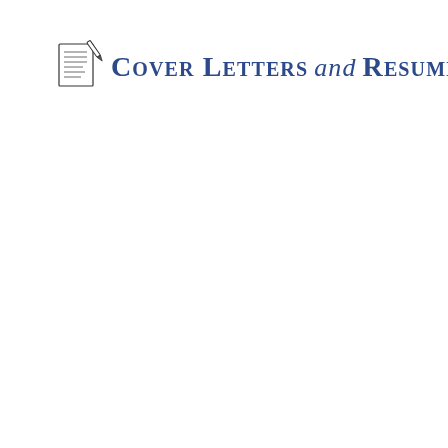[Figure (logo): Cover Letters and Resume logo: a small icon of papers with a pen/quill on the left, followed by the text 'Cover Letters and Resume' in blue small-caps with 'and' in italic]